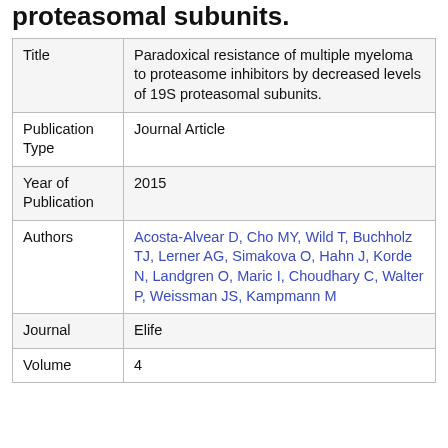proteasomal subunits.
| Title | Paradoxical resistance of multiple myeloma to proteasome inhibitors by decreased levels of 19S proteasomal subunits. |
| Publication Type | Journal Article |
| Year of Publication | 2015 |
| Authors | Acosta-Alvear D, Cho MY, Wild T, Buchholz TJ, Lerner AG, Simakova O, Hahn J, Korde N, Landgren O, Maric I, Choudhary C, Walter P, Weissman JS, Kampmann M |
| Journal | Elife |
| Volume | 4 |